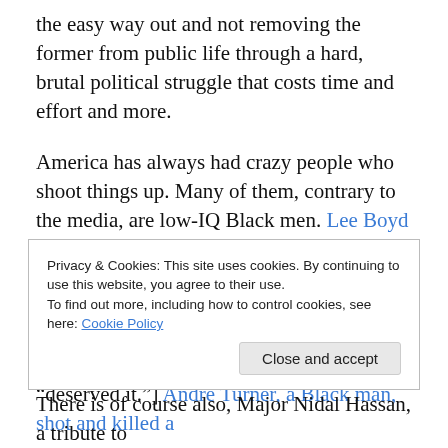the easy way out and not removing the former from public life through a hard, brutal political struggle that costs time and effort and more.
America has always had crazy people who shoot things up. Many of them, contrary to the media, are low-IQ Black men. Lee Boyd Malvo and John Mohammed killed 10 people, Omar Thornton, another Black man, shot and killed 8 White men at Hartford Distributors. [The FBI investigated for over a year if the victims were “racist” and “deserved it.”] Andre Turner, a Black man, shot and killed a
Privacy & Cookies: This site uses cookies. By continuing to use this website, you agree to their use.
To find out more, including how to control cookies, see here: Cookie Policy
Close and accept
There is of course also, Major Nidal Hassan, a tribute to